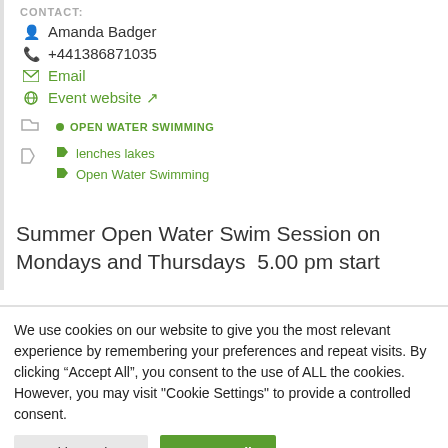CONTACT:
Amanda Badger
+441386871035
Email
Event website
OPEN WATER SWIMMING
lenches lakes
Open Water Swimming
Summer Open Water Swim Session on Mondays and Thursdays  5.00 pm start
We use cookies on our website to give you the most relevant experience by remembering your preferences and repeat visits. By clicking “Accept All”, you consent to the use of ALL the cookies. However, you may visit "Cookie Settings" to provide a controlled consent.